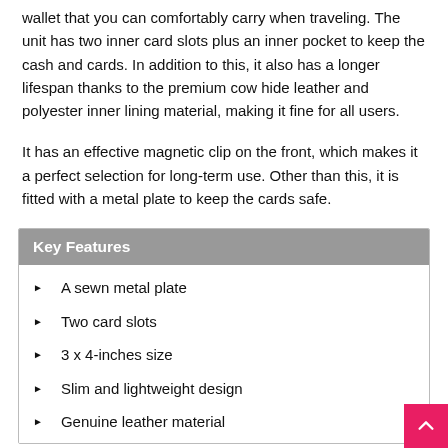wallet that you can comfortably carry when traveling. The unit has two inner card slots plus an inner pocket to keep the cash and cards. In addition to this, it also has a longer lifespan thanks to the premium cow hide leather and polyester inner lining material, making it fine for all users.
It has an effective magnetic clip on the front, which makes it a perfect selection for long-term use. Other than this, it is fitted with a metal plate to keep the cards safe.
Key Features
A sewn metal plate
Two card slots
3 x 4-inches size
Slim and lightweight design
Genuine leather material